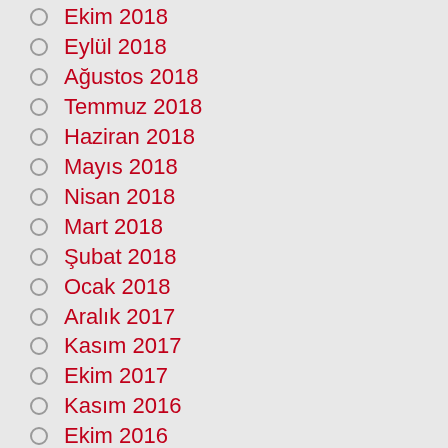Ekim 2018
Eylül 2018
Ağustos 2018
Temmuz 2018
Haziran 2018
Mayıs 2018
Nisan 2018
Mart 2018
Şubat 2018
Ocak 2018
Aralık 2017
Kasım 2017
Ekim 2017
Kasım 2016
Ekim 2016
Eylül 2016
Ağustos 2016
Temmuz 2016
Haziran 2016